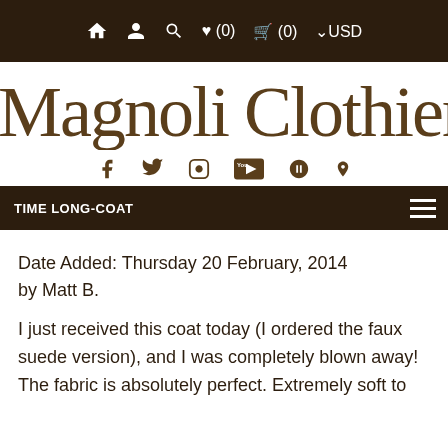🏠 👤 🔍 ♥ (0)   🛒 (0)  ∨USD
Magnoli Clothiers
[Figure (infographic): Social media icons: Facebook, Twitter, Instagram, YouTube, Pinterest in brown color]
TIME LONG-COAT
Date Added: Thursday 20 February, 2014
by Matt B.
I just received this coat today (I ordered the faux suede version), and I was completely blown away! The fabric is absolutely perfect. Extremely soft to